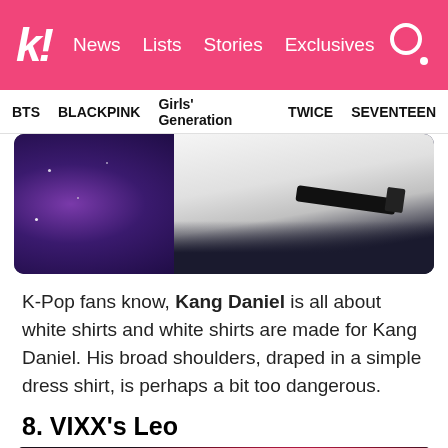k! News Lists Stories Exclusives
BTS BLACKPINK Girls' Generation TWICE SEVENTEEN
[Figure (photo): Close-up photo of Kang Daniel wearing a white shirt with dark pants and a black belt, against a purple/galaxy background]
K-Pop fans know, Kang Daniel is all about white shirts and white shirts are made for Kang Daniel. His broad shoulders, draped in a simple dress shirt, is perhaps a bit too dangerous.
8. VIXX's Leo
[Figure (photo): Blurry/bokeh photo of VIXX's Leo on stage with pink/red light, watermark TAEK'D in upper right]